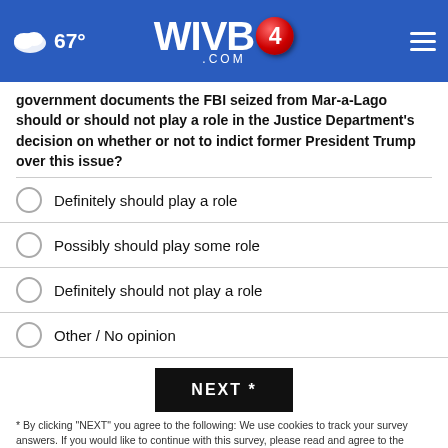WIVB4.com — 67°
government documents the FBI seized from Mar-a-Lago should or should not play a role in the Justice Department's decision on whether or not to indict former President Trump over this issue?
Definitely should play a role
Possibly should play some role
Definitely should not play a role
Other / No opinion
NEXT *
* By clicking "NEXT" you agree to the following: We use cookies to track your survey answers. If you would like to continue with this survey, please read and agree to the CivicScience Privacy Policy and Terms of Service
[Figure (infographic): AARP advertisement banner: 'It's not too late to take charge of your retirement. Get your top 3 tips.' with green mascot character, Ad Council logo, and AARP logo.]
TOP STORIES ›